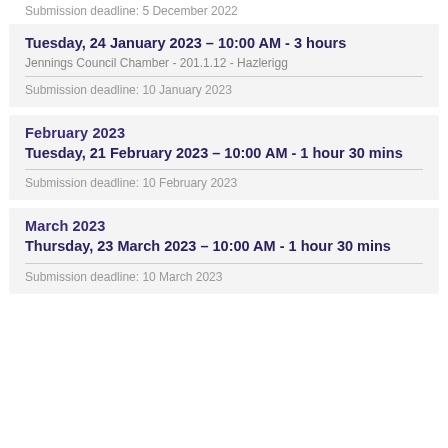Submission deadline: 5 December 2022
Tuesday, 24 January 2023 - 10:00 AM - 3 hours
Jennings Council Chamber - 201.1.12 - Hazlerigg
Submission deadline: 10 January 2023
February 2023
Tuesday, 21 February 2023 - 10:00 AM - 1 hour 30 mins
Submission deadline: 10 February 2023
March 2023
Thursday, 23 March 2023 - 10:00 AM - 1 hour 30 mins
Submission deadline: 10 March 2023